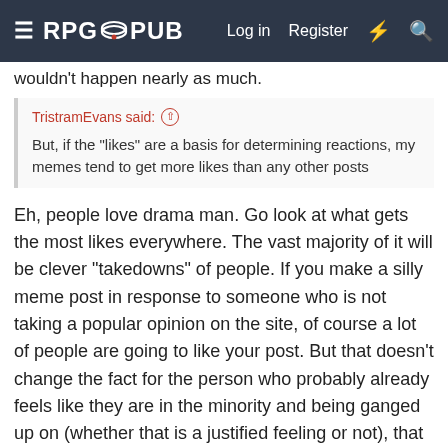RPG PUB — Log in  Register
wouldn't happen nearly as much.
TristramEvans said: ↑

But, if the "likes" are a basis for determining reactions, my memes tend to get more likes than any other posts
Eh, people love drama man. Go look at what gets the most likes everywhere. The vast majority of it will be clever "takedowns" of people. If you make a silly meme post in response to someone who is not taking a popular opinion on the site, of course a lot of people are going to like your post. But that doesn't change the fact for the person who probably already feels like they are in the minority and being ganged up on (whether that is a justified feeling or not), that it feels like you are escalating things.
Black Leaf
We're living in a powder keg and giving off sparks
Moderator